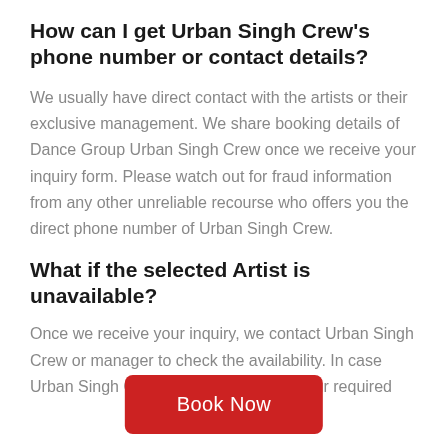How can I get Urban Singh Crew's phone number or contact details?
We usually have direct contact with the artists or their exclusive management. We share booking details of Dance Group Urban Singh Crew once we receive your inquiry form. Please watch out for fraud information from any other unreliable recourse who offers you the direct phone number of Urban Singh Crew.
What if the selected Artist is unavailable?
Once we receive your inquiry, we contact Urban Singh Crew or manager to check the availability. In case Urban Singh Crew is not available on your required
[Figure (other): Red 'Book Now' button at the bottom center of the page]